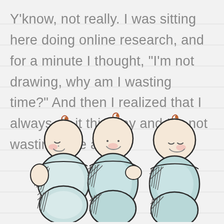Y'know, not really. I was sitting here doing online research, and for a minute I thought, “I’m not drawing, why am I wasting time?” And then I realized that I always do it this way and I’m not wasting time at all!
[Figure (illustration): Watercolor illustration of three swaddled babies side by side, each with a small curl of hair on top, rosy cheeks, and peaceful smiling faces, wrapped in light blue blankets with crosshatch shading details.]